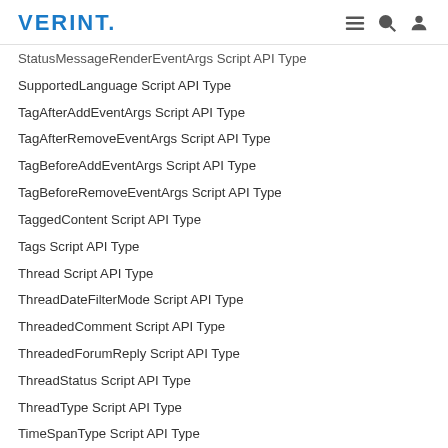VERINT.
StatusMessageRenderEventArgs Script API Type
SupportedLanguage Script API Type
TagAfterAddEventArgs Script API Type
TagAfterRemoveEventArgs Script API Type
TagBeforeAddEventArgs Script API Type
TagBeforeRemoveEventArgs Script API Type
TaggedContent Script API Type
Tags Script API Type
Thread Script API Type
ThreadDateFilterMode Script API Type
ThreadedComment Script API Type
ThreadedForumReply Script API Type
ThreadStatus Script API Type
ThreadType Script API Type
TimeSpanType Script API Type
TourTip Script API Type
Unit Script API Type